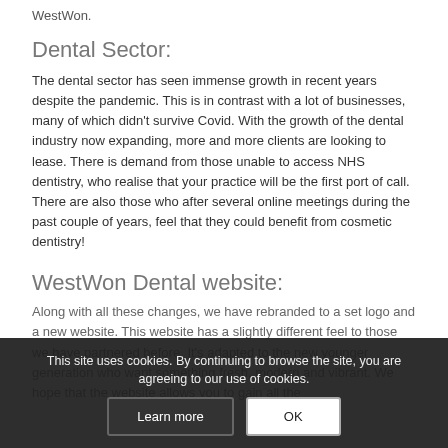WestWon.
Dental Sector:
The dental sector has seen immense growth in recent years despite the pandemic. This is in contrast with a lot of businesses, many of which didn't survive Covid. With the growth of the dental industry now expanding, more and more clients are looking to lease. There is demand from those unable to access NHS dentistry, who realise that your practice will be the first port of call. There are also those who after several online meetings during the past couple of years, feel that they could benefit from cosmetic dentistry!
WestWon Dental website:
Along with all these changes, we have rebranded to a set logo and a new website. This website has a slightly different feel to those we have partnered before. It's adapted to the new younger generation who want something fresh, modern and vibrant. We hope that the website allows you to gain all the
This site uses cookies. By continuing to browse the site, you are agreeing to our use of cookies.